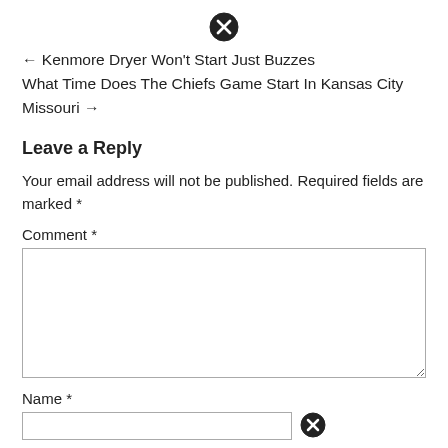[Figure (other): Close/cancel icon (circle with X) centered at top of page]
← Kenmore Dryer Won't Start Just Buzzes
What Time Does The Chiefs Game Start In Kansas City Missouri →
Leave a Reply
Your email address will not be published. Required fields are marked *
Comment *
[Figure (other): Empty comment text area input box]
Name *
[Figure (other): Name text input box with close/cancel icon on right side]